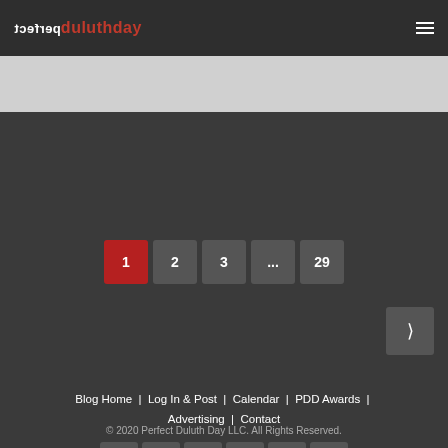perfect duluthday
[Figure (other): Gray band placeholder below header]
1 (current page)
2
3
...
29
› (next)
Blog Home | Log In & Post | Calendar | PDD Awards | Advertising | Contact
[Figure (other): Social media icon buttons: Facebook, Twitter, LinkedIn, Flickr, Video/Play, Plus]
© 2020 Perfect Duluth Day LLC. All Rights Reserved.